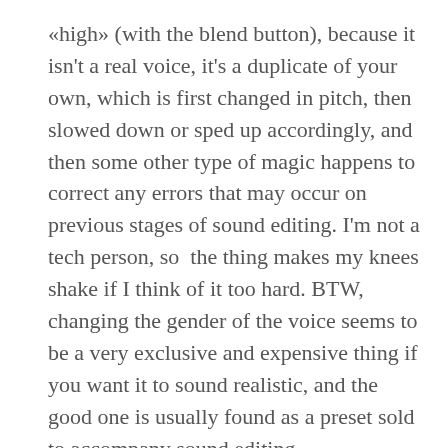«high» (with the blend button), because it isn't a real voice, it's a duplicate of your own, which is first changed in pitch, then slowed down or sped up accordingly, and then some other type of magic happens to correct any errors that may occur on previous stages of sound editing. I'm not a tech person, so  the thing makes my knees shake if I think of it too hard. BTW, changing the gender of the voice seems to be a very exclusive and expensive thing if you want it to sound realistic, and the good one is usually found as a preset sold to accompany sound editing... other than that, ...